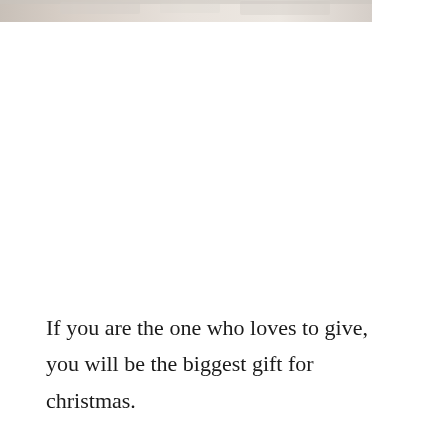[Figure (photo): A blurry/soft-focus photo at the top of the page, showing a light-colored scene, possibly a table setting or decorative items in muted tones.]
If you are the one who loves to give, you will be the biggest gift for christmas.